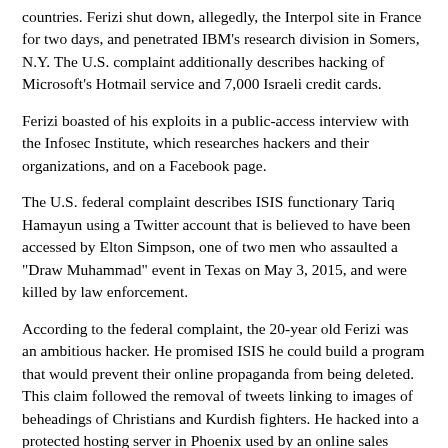countries. Ferizi shut down, allegedly, the Interpol site in France for two days, and penetrated IBM's research division in Somers, N.Y. The U.S. complaint additionally describes hacking of Microsoft's Hotmail service and 7,000 Israeli credit cards.
Ferizi boasted of his exploits in a public-access interview with the Infosec Institute, which researches hackers and their organizations, and on a Facebook page.
The U.S. federal complaint describes ISIS functionary Tariq Hamayun using a Twitter account that is believed to have been accessed by Elton Simpson, one of two men who assaulted a "Draw Muhammad" event in Texas on May 3, 2015, and were killed by law enforcement.
According to the federal complaint, the 20-year old Ferizi was an ambitious hacker. He promised ISIS he could build a program that would prevent their online propaganda from being deleted. This claim followed the removal of tweets linking to images of beheadings of Christians and Kurdish fighters. He hacked into a protected hosting server in Phoenix used by an online sales company left unnamed in the federal legal document, stealing his basic trove of 100,000 identities.
Ferizi then demanded the online sales company transfer two bitcoins...